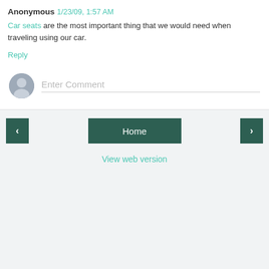Anonymous  1/23/09, 1:57 AM
Car seats are the most important thing that we would need when traveling using our car.
Reply
[Figure (illustration): User avatar placeholder icon showing a silhouette of a person on a grey circular background]
Enter Comment
‹
Home
›
View web version